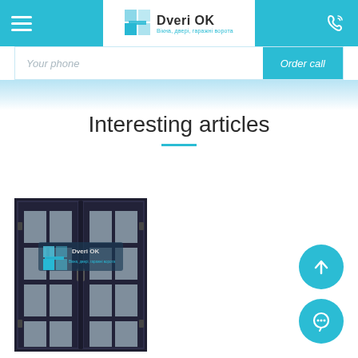Dveri OK — Вікна, двері, гаражні ворота
Your phone
Order call
Interesting articles
[Figure (photo): Dark double door with glass panels, Dveri OK logo watermark overlay]
[Figure (other): Scroll to top button (teal circle with up arrow)]
[Figure (other): Chat button (teal circle with speech bubble icon)]